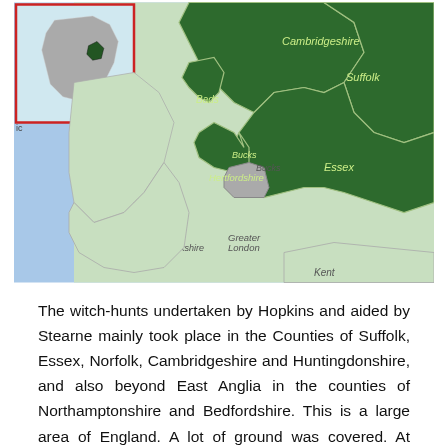[Figure (map): Map of East Anglia and surrounding counties of England, showing Cambridgeshire, Suffolk, Essex, Hertfordshire, Greater London, Berkshire, Oxfordshire, Buckinghamshire, Bedfordshire, and Kent highlighted. Inset map of England in top-left corner.]
The witch-hunts undertaken by Hopkins and aided by Stearne mainly took place in the Counties of Suffolk, Essex, Norfolk, Cambridgeshire and Huntingdonshire, and also beyond East Anglia in the counties of Northamptonshire and Bedfordshire. This is a large area of England. A lot of ground was covered. At times Hopkins and